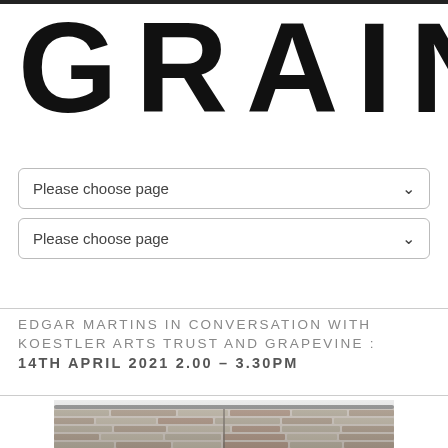GRAIN
Please choose page
Please choose page
EDGAR MARTINS IN CONVERSATION WITH KOESTLER ARTS TRUST AND GRAPEVINE : 14TH APRIL 2021 2.00 – 3.30PM
[Figure (photo): Black and white photograph of a brick building exterior with a curved metal roof or gutter detail, shown from a low angle.]